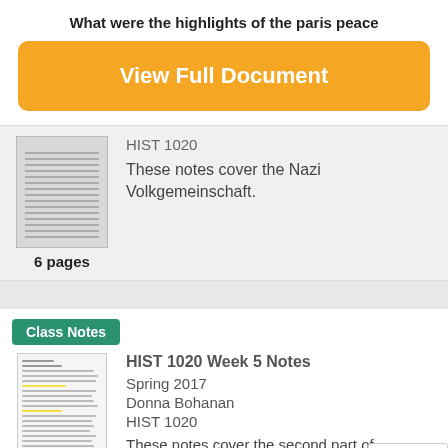What were the highlights of the paris peace
View Full Document
HIST 1020
These notes cover the Nazi Volkgemeinschaft.
6 pages
Class Notes
HIST 1020 Week 5 Notes
Spring 2017
Donna Bohanan
HIST 1020
These notes cover the second part of Imperialism and the first part of World
7 pages